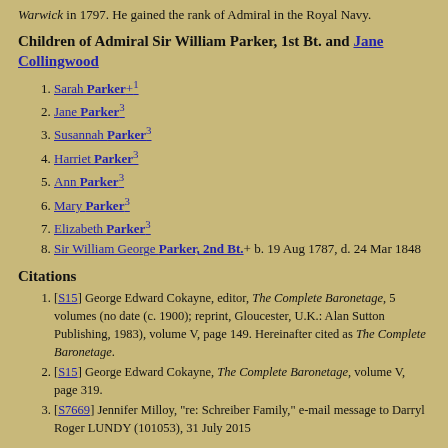Warwick in 1797. He gained the rank of Admiral in the Royal Navy.
Children of Admiral Sir William Parker, 1st Bt. and Jane Collingwood
Sarah Parker+1
Jane Parker3
Susannah Parker3
Harriet Parker3
Ann Parker3
Mary Parker3
Elizabeth Parker3
Sir William George Parker, 2nd Bt.+ b. 19 Aug 1787, d. 24 Mar 1848
Citations
[S15] George Edward Cokayne, editor, The Complete Baronetage, 5 volumes (no date (c. 1900); reprint, Gloucester, U.K.: Alan Sutton Publishing, 1983), volume V, page 149. Hereinafter cited as The Complete Baronetage.
[S15] George Edward Cokayne, The Complete Baronetage, volume V, page 319.
[S7669] Jennifer Milloy, "re: Schreiber Family," e-mail message to Darryl Roger LUNDY (101053), 31 July 2015